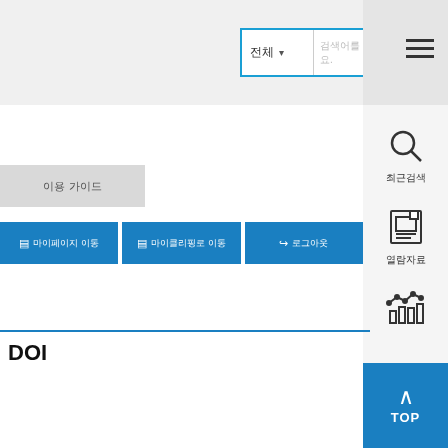[Figure (logo): KISS Koreanstudies Information Service System logo with blue stylized letters]
최근검색
열람자료
통계
이용 가이드
▤ 마이페이지 이동
▤ 마이클리핑로 이동
↪ 로그아웃
DOI
TOP